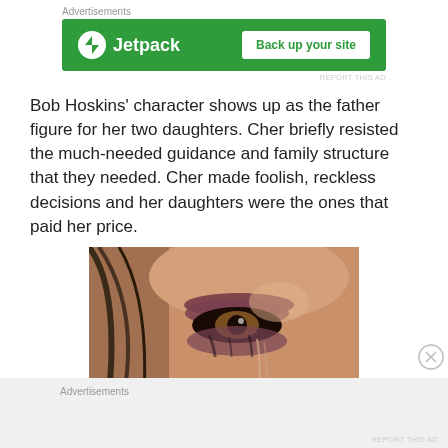Advertisements
[Figure (screenshot): Jetpack advertisement banner with green background, Jetpack logo on left and 'Back up your site' button on right]
Bob Hoskins' character shows up as the father figure for her two daughters. Cher briefly resisted the much-needed guidance and family structure that they needed. Cher made foolish, reckless decisions and her daughters were the ones that paid her price.
[Figure (photo): Close-up photo of a person's eye with smeared dark eye makeup, appearing to have been crying]
Advertisements